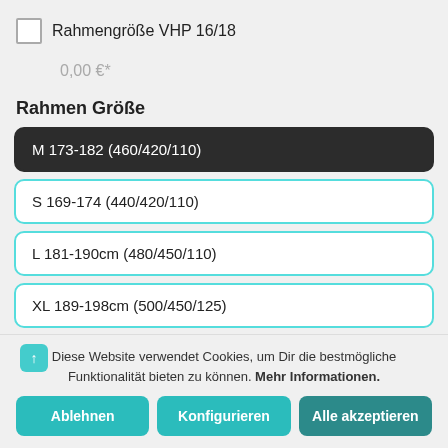Rahmengröße VHP 16/18
0,00 €*
Rahmen Größe
M 173-182 (460/420/110)
S 169-174 (440/420/110)
L 181-190cm (480/450/110)
XL 189-198cm (500/450/125)
2XL 197-206cm (520/480/125)
Diese Website verwendet Cookies, um Dir die bestmögliche Funktionalität bieten zu können. Mehr Informationen.
Ablehnen
Konfigurieren
Alle akzeptieren